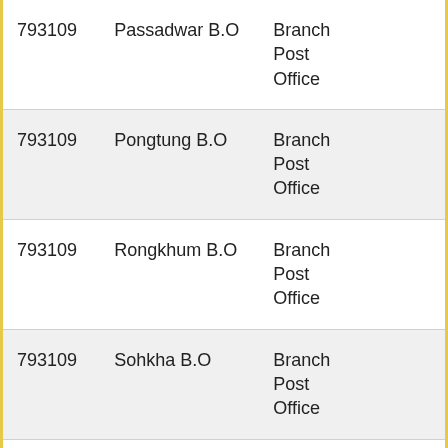| 793109 | Passadwar B.O | Branch Post Office |  |
| 793109 | Pongtung B.O | Branch Post Office |  |
| 793109 | Rongkhum B.O | Branch Post Office |  |
| 793109 | Sohkha B.O | Branch Post Office |  |
| 793109 | Syndai B.O | Branch Post Office |  |